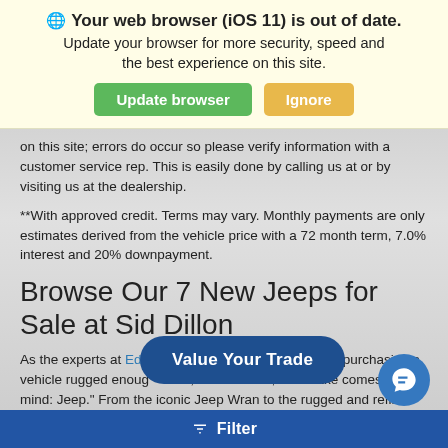🌐 Your web browser (iOS 11) is out of date. Update your browser for more security, speed and the best experience on this site.
on this site; errors do occur so please verify information with a customer service rep. This is easily done by calling us at or by visiting us at the dealership.
**With approved credit. Terms may vary. Monthly payments are only estimates derived from the vehicle price with a 72 month term, 7.0% interest and 20% downpayment.
Browse Our 7 New Jeeps for Sale at Sid Dillon
As the experts at Edmunds.com b... ng about purchasing a vehicle rugged enoug... chances are, one make comes to mind: Jeep." From the iconic Jeep Wrap... to the rugged and refined Jeep Grand Cherokee, all of the veh...
Filter